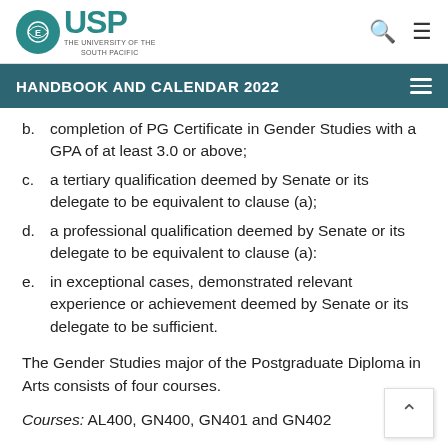USP — THE UNIVERSITY OF THE SOUTH PACIFIC — HANDBOOK AND CALENDAR 2022
b. completion of PG Certificate in Gender Studies with a GPA of at least 3.0 or above;
c. a tertiary qualification deemed by Senate or its delegate to be equivalent to clause (a);
d. a professional qualification deemed by Senate or its delegate to be equivalent to clause (a):
e. in exceptional cases, demonstrated relevant experience or achievement deemed by Senate or its delegate to be sufficient.
The Gender Studies major of the Postgraduate Diploma in Arts consists of four courses.
Courses: AL400, GN400, GN401 and GN402